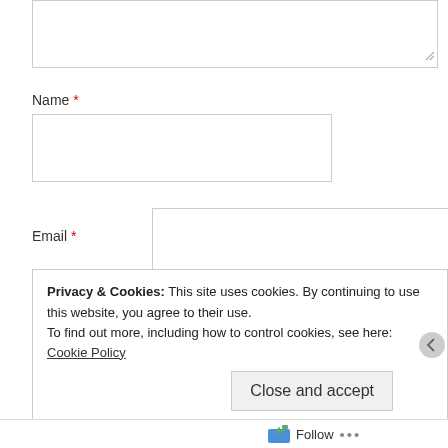[Figure (screenshot): Textarea input box (partially visible at top of page) with resize handle in bottom-right corner]
Name *
[Figure (screenshot): Text input field for Name]
Email *
[Figure (screenshot): Text input field for Email]
Website
[Figure (screenshot): Text input field for Website]
[Figure (screenshot): POST COMMENT button]
Privacy & Cookies: This site uses cookies. By continuing to use this website, you agree to their use. To find out more, including how to control cookies, see here: Cookie Policy
[Figure (screenshot): Close and accept button]
Follow ...